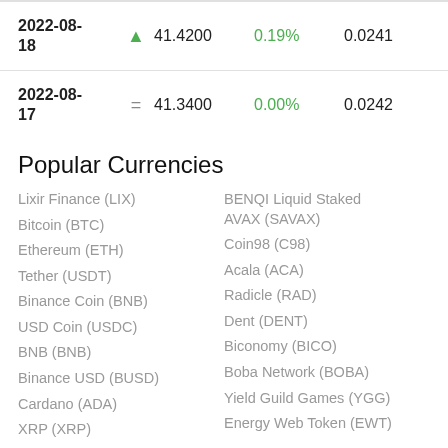| Date | Direction | Price | Change% | Value |
| --- | --- | --- | --- | --- |
| 2022-08-18 | ▲ | 41.4200 | 0.19% | 0.0241 |
| 2022-08-17 | = | 41.3400 | 0.00% | 0.0242 |
Popular Currencies
Lixir Finance (LIX)
Bitcoin (BTC)
Ethereum (ETH)
Tether (USDT)
Binance Coin (BNB)
USD Coin (USDC)
BNB (BNB)
Binance USD (BUSD)
Cardano (ADA)
XRP (XRP)
BENQI Liquid Staked AVAX (SAVAX)
Coin98 (C98)
Acala (ACA)
Radicle (RAD)
Dent (DENT)
Biconomy (BICO)
Boba Network (BOBA)
Yield Guild Games (YGG)
Energy Web Token (EWT)